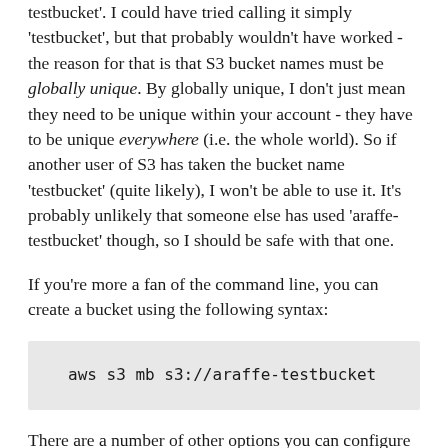testbucket'. I could have tried calling it simply 'testbucket', but that probably wouldn't have worked - the reason for that is that S3 bucket names must be globally unique. By globally unique, I don't just mean they need to be unique within your account - they have to be unique everywhere (i.e. the whole world). So if another user of S3 has taken the bucket name 'testbucket' (quite likely), I won't be able to use it. It's probably unlikely that someone else has used 'araffe-testbucket' though, so I should be safe with that one.
If you're more a fan of the command line, you can create a bucket using the following syntax:
aws s3 mb s3://araffe-testbucket
There are a number of other options you can configure while creating your bucket, some of which I'll cover later. However, there is one important configuration item on...